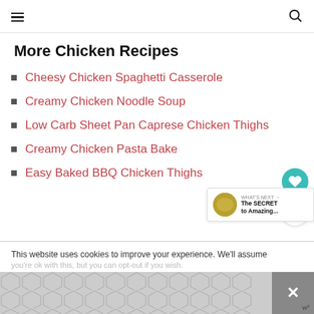Navigation header with hamburger menu and search icon
More Chicken Recipes
Cheesy Chicken Spaghetti Casserole
Creamy Chicken Noodle Soup
Low Carb Sheet Pan Caprese Chicken Thighs
Creamy Chicken Pasta Bake
Easy Baked BBQ Chicken Thighs
This website uses cookies to improve your experience. We'll assume you're ok with this, but you can opt-out if you wish.